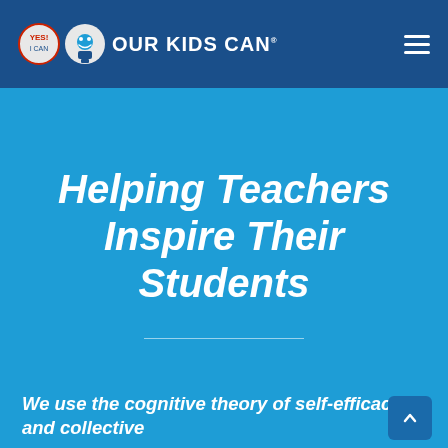[Figure (logo): Our Kids Can logo with YES! badge, smiley face icon, and bold white text reading OUR KIDS CAN on dark blue navigation bar]
Helping Teachers Inspire Their Students
We use the cognitive theory of self-efficacy and collective